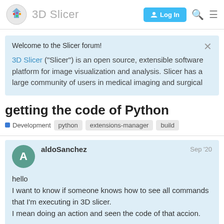3D Slicer  Log In
Welcome to the Slicer forum!
3D Slicer ("Slicer") is an open source, extensible software platform for image visualization and analysis. Slicer has a large community of users in medical imaging and surgical
getting the code of Python
Development  python  extensions-manager  build
aldoSanchez  Sep '20
hello
I want to know if someone knows how to see all commands that I'm executing in 3D slicer.
I mean doing an action and seen the code of that accion.